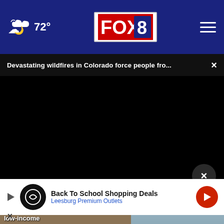72° FOX 8
Devastating wildfires in Colorado force people fro... ×
[Figure (screenshot): Black video player area]
[Figure (screenshot): Bottom partial image showing Department sign, person in suit, with overlay text 'Gu...' and 'low-income']
Back To School Shopping Deals Leesburg Premium Outlets